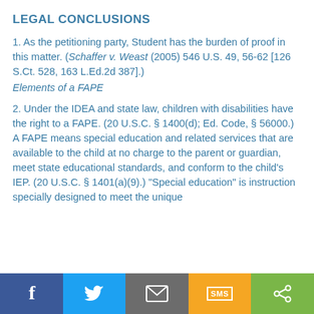LEGAL CONCLUSIONS
1. As the petitioning party, Student has the burden of proof in this matter. (Schaffer v. Weast (2005) 546 U.S. 49, 56-62 [126 S.Ct. 528, 163 L.Ed.2d 387].)
Elements of a FAPE
2. Under the IDEA and state law, children with disabilities have the right to a FAPE. (20 U.S.C. § 1400(d); Ed. Code, § 56000.) A FAPE means special education and related services that are available to the child at no charge to the parent or guardian, meet state educational standards, and conform to the child's IEP. (20 U.S.C. § 1401(a)(9).) "Special education" is instruction specially designed to meet the unique